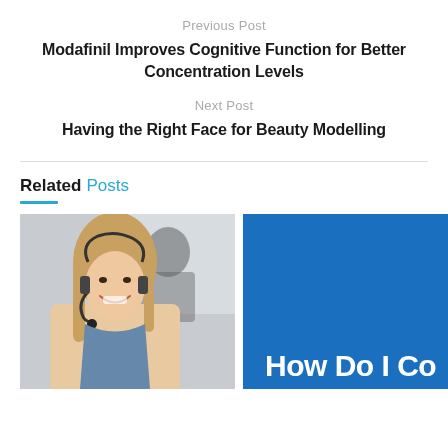Previous Post
Modafinil Improves Cognitive Function for Better Concentration Levels
Next Post
Having the Right Face for Beauty Modelling
Related Posts
[Figure (photo): Woman smiling wearing a headset, with a partially visible blue image panel showing text 'How Do I Co' on the right side]